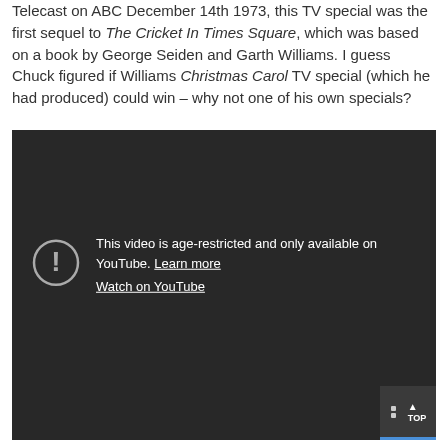Telecast on ABC December 14th 1973, this TV special was the first sequel to The Cricket In Times Square, which was based on a book by George Seiden and Garth Williams. I guess Chuck figured if Williams Christmas Carol TV special (which he had produced) could win – why not one of his own specials?
[Figure (screenshot): Embedded YouTube video player showing an age-restriction error message. The dark background displays a circle-exclamation icon and text: 'This video is age-restricted and only available on YouTube. Learn more' and 'Watch on YouTube'. A 'TOP' navigation button is visible in the bottom-right corner.]